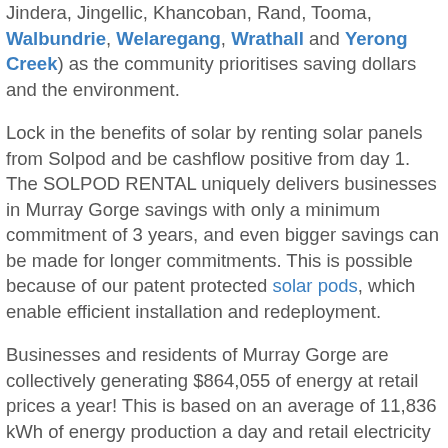Jindera, Jingellic, Khancoban, Rand, Tooma, Walbundrie, Welaregang, Wrathall and Yerong Creek) as the community prioritises saving dollars and the environment.
Lock in the benefits of solar by renting solar panels from Solpod and be cashflow positive from day 1. The SOLPOD RENTAL uniquely delivers businesses in Murray Gorge savings with only a minimum commitment of 3 years, and even bigger savings can be made for longer commitments. This is possible because of our patent protected solar pods, which enable efficient installation and redeployment.
Businesses and residents of Murray Gorge are collectively generating $864,055 of energy at retail prices a year! This is based on an average of 11,836 kWh of energy production a day and retail electricity costs of 20c per kilowatt-hour. The solar panels in Murray Gorge are also offsetting greenhouse gas emission, with the solar systems in Murray Gorge reducing